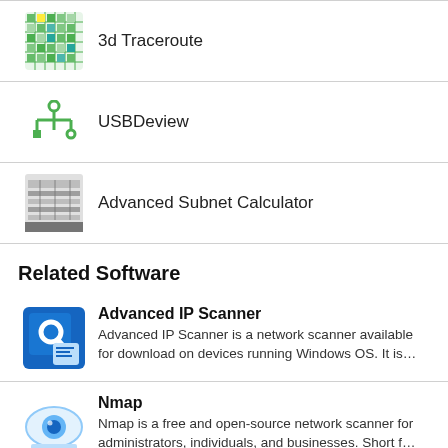3d Traceroute
USBDeview
Advanced Subnet Calculator
Related Software
Advanced IP Scanner — Advanced IP Scanner is a network scanner available for download on devices running Windows OS. It is...
Nmap — Nmap is a free and open-source network scanner for administrators, individuals, and businesses. Short f...
WakeMeOnLan